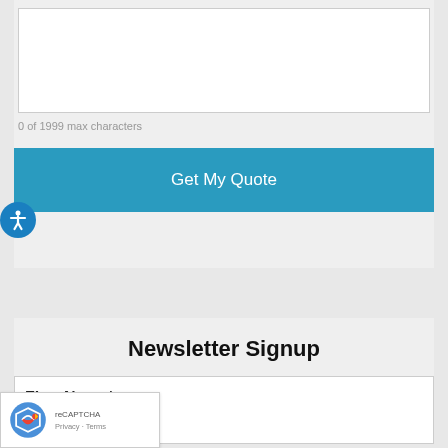[Figure (other): Empty white textarea input field]
0 of 1999 max characters
Get My Quote
Newsletter Signup
First Name*